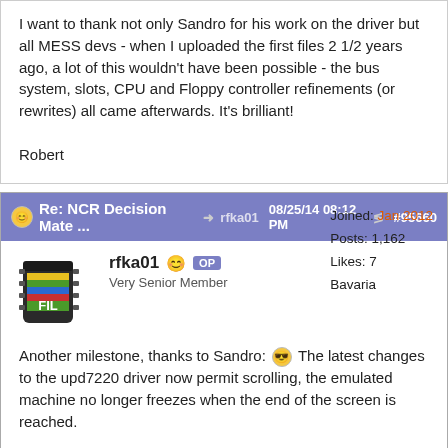I want to thank not only Sandro for his work on the driver but all MESS devs - when I uploaded the first files 2 1/2 years ago, a lot of this wouldn't have been possible - the bus system, slots, CPU and Floppy controller refinements (or rewrites) all came afterwards. It's brilliant!

Robert
Re: NCR Decision Mate ... → rfka01 08/25/14 08:12 PM  #95660
rfka01  OP  Very Senior Member  Joined: Jan 2012  Posts: 1,162  Likes: 7  Bavaria
Another milestone, thanks to Sandro: 😎 The latest changes to the upd7220 driver now permit scrolling, the emulated machine no longer freezes when the end of the screen is reached.

This also makes it possible to run WordStar in all three emulated operating systems, warts and all - I have set the keyboard to German, and this converts the | character in the menu's ASCII frames to '|Ö|' just like on the real machine.